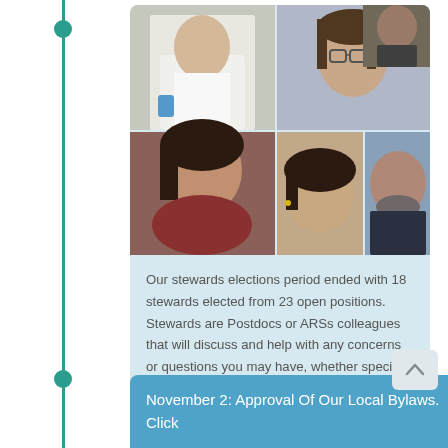[Figure (photo): Collage of 6 portrait photos of union stewards — arranged in a 2-column grid. Top row: person in white lab coat, person with glasses, person in dark jacket. Bottom row: young woman with dark hair, young woman smiling, bearded man with blue lanyard.]
Our stewards elections period ended with 18 stewards elected from 23 open positions. Stewards are Postdocs or ARSs colleagues that will discuss and help with any concerns or questions you may have, whether specific to your workplace, funding, benefits, or more
November 2: Approval Of Our Local Bylaws. Click